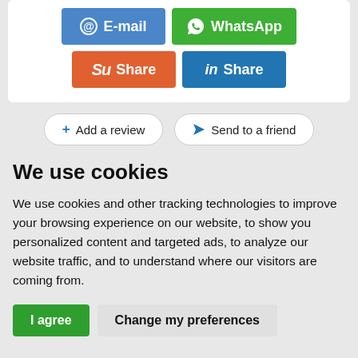[Figure (screenshot): Social share buttons: Email (blue), WhatsApp (green), StumbleUpon Share (orange-red), LinkedIn Share (blue)]
[Figure (screenshot): Two action buttons: '+ Add a review' and 'Send to a friend' with rounded borders]
We use cookies
We use cookies and other tracking technologies to improve your browsing experience on our website, to show you personalized content and targeted ads, to analyze our website traffic, and to understand where our visitors are coming from.
[Figure (screenshot): Two buttons: 'I agree' (green) and 'Change my preferences' (light gray)]